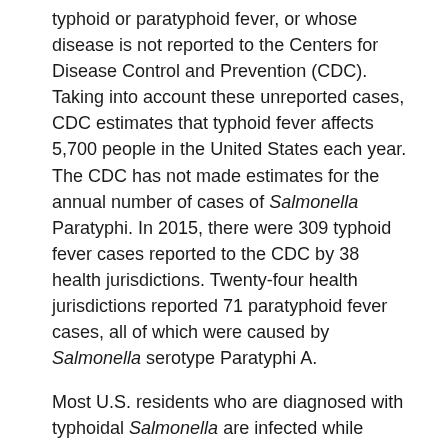typhoid or paratyphoid fever, or whose disease is not reported to the Centers for Disease Control and Prevention (CDC). Taking into account these unreported cases, CDC estimates that typhoid fever affects 5,700 people in the United States each year. The CDC has not made estimates for the annual number of cases of Salmonella Paratyphi. In 2015, there were 309 typhoid fever cases reported to the CDC by 38 health jurisdictions. Twenty-four health jurisdictions reported 71 paratyphoid fever cases, all of which were caused by Salmonella serotype Paratyphi A.
Most U.S. residents who are diagnosed with typhoidal Salmonella are infected while traveling abroad in areas where typhoid fever and paratyphoid fever are common. Three types of vaccines against S. Typhi are commercially available, although there is still not a single licensed vaccine available against S. Paratyphi A. Persons planning to travel outside of the United States